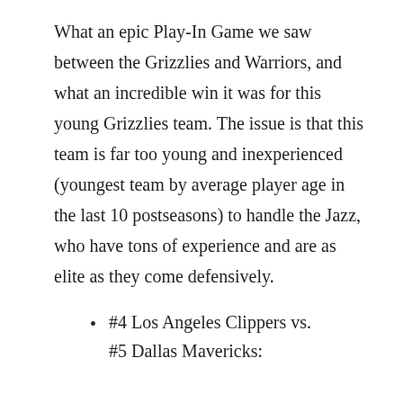What an epic Play-In Game we saw between the Grizzlies and Warriors, and what an incredible win it was for this young Grizzlies team. The issue is that this team is far too young and inexperienced (youngest team by average player age in the last 10 postseasons) to handle the Jazz, who have tons of experience and are as elite as they come defensively.
#4 Los Angeles Clippers vs. #5 Dallas Mavericks: